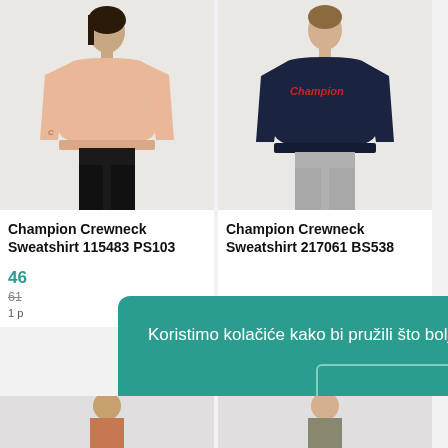[Figure (photo): Female model wearing a peach/salmon Champion crewneck sweatshirt with black pants, on white background]
[Figure (photo): Male model wearing a navy Champion crewneck sweatshirt with grey sweatpants, on white background]
Champion Crewneck Sweatshirt 115483 PS103
Champion Crewneck Sweatshirt 217061 BS538
46
61
1 p
Koristimo kolačiće kako bi pružili što bolje korisničko iskustvo. Više
U redu